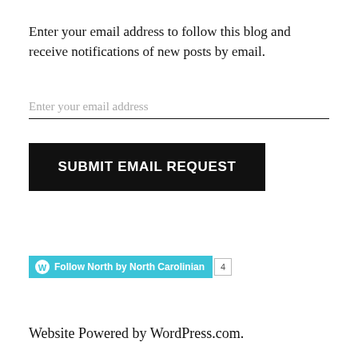Enter your email address to follow this blog and receive notifications of new posts by email.
Enter your email address
SUBMIT EMAIL REQUEST
[Figure (other): WordPress Follow button widget showing 'Follow North by North Carolinian' in cyan with a count badge showing 4]
Website Powered by WordPress.com.